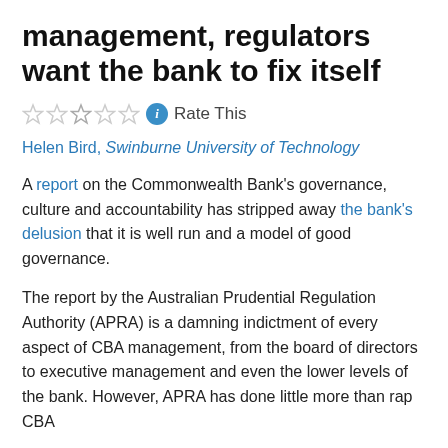Commonwealth Bank's management, regulators want the bank to fix itself
Rate This
Helen Bird, Swinburne University of Technology
A report on the Commonwealth Bank's governance, culture and accountability has stripped away the bank's delusion that it is well run and a model of good governance.
The report by the Australian Prudential Regulation Authority (APRA) is a damning indictment of every aspect of CBA management, from the board of directors to executive management and even the lower levels of the bank. However, APRA has done little more than rap CBA